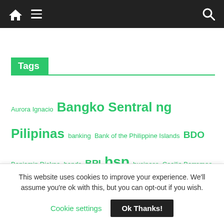Navigation bar with home, menu, and search icons
Tags
Aurora Ignacio  Bangko Sentral ng Pilipinas  banking  Bank of the Philippine Islands  BDO  Benjamin Diokno  bonds  BPI  bsp  business  Cecilia Borromeo  China Bank  Covid-19  credit cards  digital banking  earn  entrepreneur  Filipinos  fintech  initial public offering  Insurance  Investing  investment  investments  ipo  Landbank  Land Bank of the Philippines  mobile banking  pandemic  payments
This website uses cookies to improve your experience. We'll assume you're ok with this, but you can opt-out if you wish.
Cookie settings  Ok Thanks!